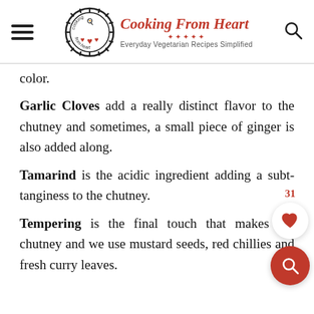Cooking From Heart — Everyday Vegetarian Recipes Simplified
color.
Garlic Cloves add a really distinct flavor to the chutney and sometimes, a small piece of ginger is also added along.
Tamarind is the acidic ingredient adding a subtle tanginess to the chutney.
Tempering is the final touch that makes the chutney and we use mustard seeds, red chillies and fresh curry leaves.